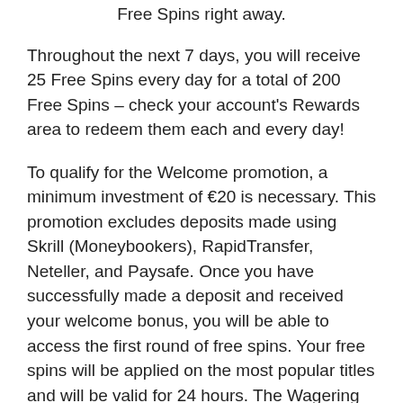Free Spins right away.
Throughout the next 7 days, you will receive 25 Free Spins every day for a total of 200 Free Spins – check your account's Rewards area to redeem them each and every day!
To qualify for the Welcome promotion, a minimum investment of €20 is necessary. This promotion excludes deposits made using Skrill (Moneybookers), RapidTransfer, Neteller, and Paysafe. Once you have successfully made a deposit and received your welcome bonus, you will be able to access the first round of free spins. Your free spins will be applied on the most popular titles and will be valid for 24 hours. The Wagering